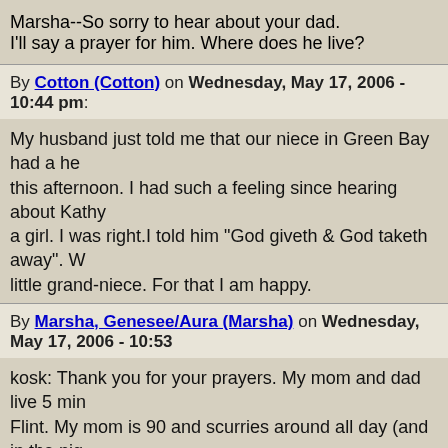Marsha--So sorry to hear about your dad. I'll say a prayer for him. Where does he live?
By Cotton (Cotton) on Wednesday, May 17, 2006 - 10:44 pm:
My husband just told me that our niece in Green Bay had a he this afternoon. I had such a feeling since hearing about Kathy a girl. I was right.I told him "God giveth & God taketh away". W little grand-niece. For that I am happy.
By Marsha, Genesee/Aura (Marsha) on Wednesday, May 17, 2006 - 10:53
kosk: Thank you for your prayers. My mom and dad live 5 min Flint. My mom is 90 and scurries around all day (and in the nig take care of him: bringing him beverages, tucking the blankets My brother and his wife are staying in their pickup camper in th sister is also nearby.
By Michael Du Long (Mikie) on Wednesday, May 17, 2006 - 11:06 pm:
Marsha, My wife and I will pray for you and your family. Cottor grand niece. I have one in Bootjack who thinks that I am the g Her name is Kyra. After I saw her in Feb. then left she looked t asking where I was. Kids can make you feel good. How much